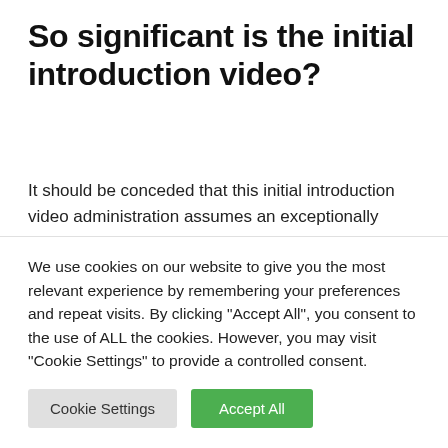So significant is the initial introduction video?
It should be conceded that this initial introduction video administration assumes an exceptionally enormous part in a substance, the interest that emerges when seeing the initial introduction video and the feelings that are excited when individuals
We use cookies on our website to give you the most relevant experience by remembering your preferences and repeat visits. By clicking "Accept All", you consent to the use of ALL the cookies. However, you may visit "Cookie Settings" to provide a controlled consent.